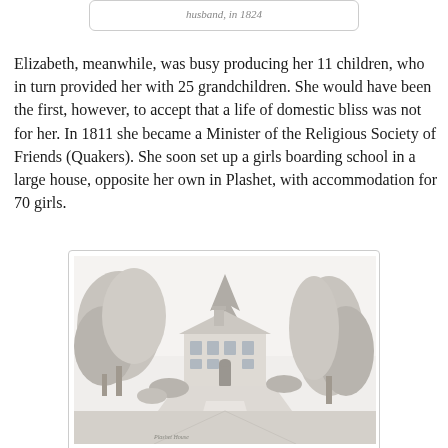husband, in 1824
Elizabeth, meanwhile, was busy producing her 11 children, who in turn provided her with 25 grandchildren. She would have been the first, however, to accept that a life of domestic bliss was not for her. In 1811 she became a Minister of the Religious Society of Friends (Quakers). She soon set up a girls boarding school in a large house, opposite her own in Plashet, with accommodation for 70 girls.
[Figure (illustration): A pencil sketch illustration of a large country house surrounded by tall trees, with a path leading up to the front of the building. The scene appears to be from the early 19th century.]